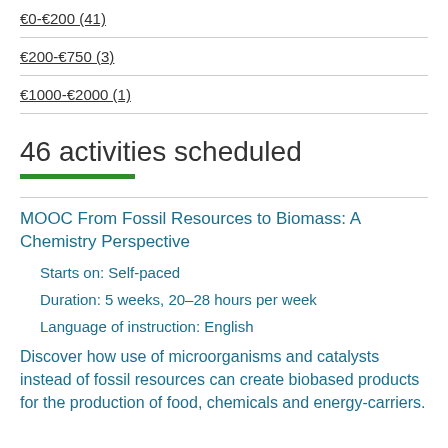€0-€200 (41)
€200-€750 (3)
€1000-€2000 (1)
46 activities scheduled
MOOC From Fossil Resources to Biomass: A Chemistry Perspective
Starts on: Self-paced
Duration: 5 weeks, 20–28 hours per week
Language of instruction: English
Discover how use of microorganisms and catalysts instead of fossil resources can create biobased products for the production of food, chemicals and energy-carriers.